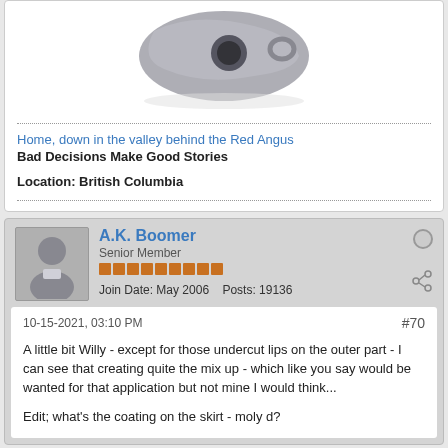[Figure (photo): Partial view of a gray metal gun part/holster component photographed from above, showing curved metal with a ring or loop.]
Home, down in the valley behind the Red Angus
Bad Decisions Make Good Stories
Location: British Columbia
A.K. Boomer
Senior Member
Join Date: May 2006   Posts: 19136
10-15-2021, 03:10 PM
#70
A little bit Willy - except for those undercut lips on the outer part - I can see that creating quite the mix up - which like you say would be wanted for that application but not mine I would think...
Edit; what's the coating on the skirt - moly d?